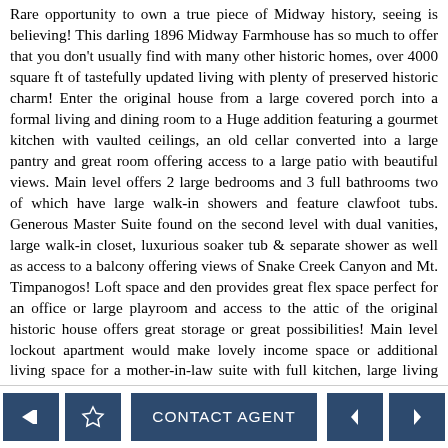Rare opportunity to own a true piece of Midway history, seeing is believing! This darling 1896 Midway Farmhouse has so much to offer that you don't usually find with many other historic homes, over 4000 square ft of tastefully updated living with plenty of preserved historic charm! Enter the original house from a large covered porch into a formal living and dining room to a Huge addition featuring a gourmet kitchen with vaulted ceilings, an old cellar converted into a large pantry and great room offering access to a large patio with beautiful views. Main level offers 2 large bedrooms and 3 full bathrooms two of which have large walk-in showers and feature clawfoot tubs. Generous Master Suite found on the second level with dual vanities, large walk-in closet, luxurious soaker tub & separate shower as well as access to a balcony offering views of Snake Creek Canyon and Mt. Timpanogos! Loft space and den provides great flex space perfect for an office or large playroom and access to the attic of the original historic house offers great storage or great possibilities! Main level lockout apartment would make lovely income space or additional living space for a mother-in-law suite with full kitchen, large living room with stone fire place and direct views of Wilson's Peak, laundry hookups, spacious bedroom, full bathroom and separate exterior entrance. 4 car tandem attached
CONTACT AGENT